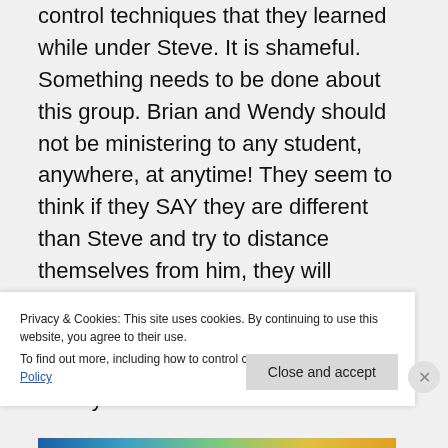control techniques that they learned while under Steve. It is shameful. Something needs to be done about this group. Brian and Wendy should not be ministering to any student, anywhere, at anytime! They seem to think if they SAY they are different than Steve and try to distance themselves from him, they will somehow slip under the radar and no one will question their motives. I wouldn't be so confident about that if I were you. What is hidden …will be
Privacy & Cookies: This site uses cookies. By continuing to use this website, you agree to their use.
To find out more, including how to control cookies, see here: Cookie Policy
Close and accept